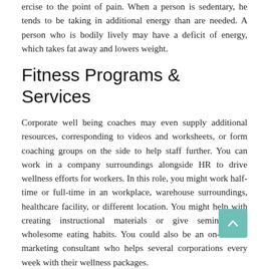ercise to the point of pain. When a person is sedentary, he tends to be taking in additional energy than are needed. A person who is bodily lively may have a deficit of energy, which takes fat away and lowers weight.
Fitness Programs & Services
Corporate well being coaches may even supply additional resources, corresponding to videos and worksheets, or form coaching groups on the side to help staff further. You can work in a company surroundings alongside HR to drive wellness efforts for workers. In this role, you might work half-time or full-time in an workplace, warehouse surroundings, healthcare facility, or different location. You might help with creating instructional materials or give seminars on wholesome eating habits. You could also be an on-retainer marketing consultant who helps several corporations every week with their wellness packages.
Hobbies corresponding to woodwork and sewing or